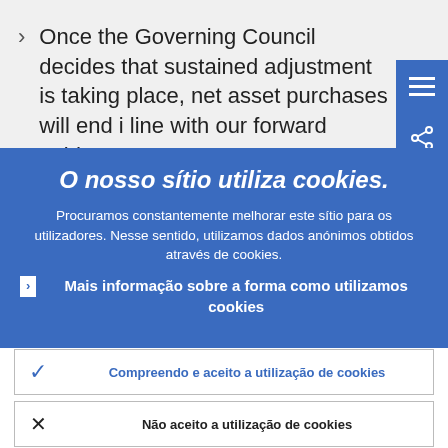Once the Governing Council decides that sustained adjustment is taking place, net asset purchases will end in line with our forward guidance.
O nosso sítio utiliza cookies.
Procuramos constantemente melhorar este sítio para os utilizadores. Nesse sentido, utilizamos dados anónimos obtidos através de cookies.
Mais informação sobre a forma como utilizamos cookies
Compreendo e aceito a utilização de cookies
Não aceito a utilização de cookies